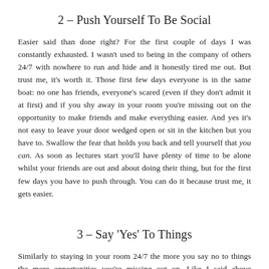2 – Push Yourself To Be Social
Easier said than done right? For the first couple of days I was constantly exhausted. I wasn't used to being in the company of others 24/7 with nowhere to run and hide and it honestly tired me out. But trust me, it's worth it. Those first few days everyone is in the same boat: no one has friends, everyone's scared (even if they don't admit it at first) and if you shy away in your room you're missing out on the opportunity to make friends and make everything easier. And yes it's not easy to leave your door wedged open or sit in the kitchen but you have to. Swallow the fear that holds you back and tell yourself that you can. As soon as lectures start you'll have plenty of time to be alone whilst your friends are out and about doing their thing, but for the first few days you have to push through. You can do it because trust me, it gets easier.
3 – Say 'Yes' To Things
Similarly to staying in your room 24/7 the more you say no to things the more opportunities you're missing out on. Like I said above university is promoted as having this huge drinking culture but there are so many more